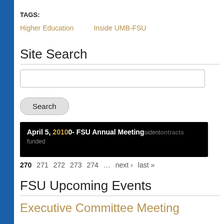TAGS:
Higher Education
Inside UMB-FSU
Site Search
Search
[Figure (screenshot): Black banner image showing article headline: April 5, 2010 - FSU Annual Meeting, with background text about president and contracts funded]
270  271  272  273  274  …  next ›  last »
FSU Upcoming Events
Executive Committee Meeting